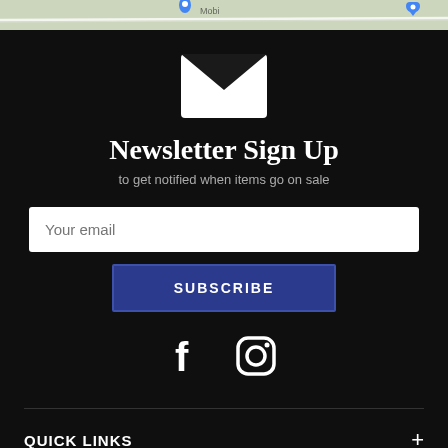[Figure (screenshot): Map strip at top of page showing partial map view with location pin and road labels]
[Figure (illustration): White envelope icon on dark background representing email/newsletter]
Newsletter Sign Up
to get notified when items go on sale
[Figure (illustration): Email input field with placeholder text 'Your email']
[Figure (illustration): SUBSCRIBE button in dark blue]
[Figure (illustration): Social media icons: Facebook and Instagram]
QUICK LINKS